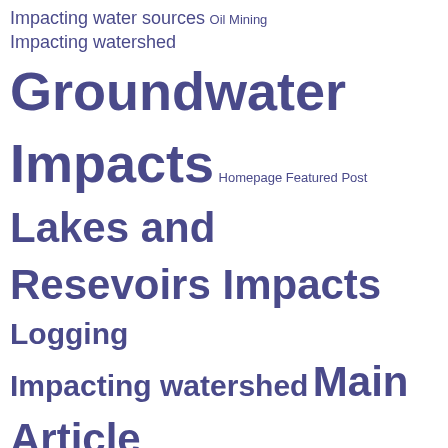[Figure (infographic): Tag cloud of water-related environmental topics in shades of blue-purple, with font size indicating relative frequency/importance. Topics include Groundwater Impacts, Lakes and Resevoirs Impacts, Main Article Archive, Salmonid/Wildlife Impacts, Streams and Wetlands Impacts, Waste Discharge Pollution, Water Conservation Issue, Watershed Related Concerns, and others.]